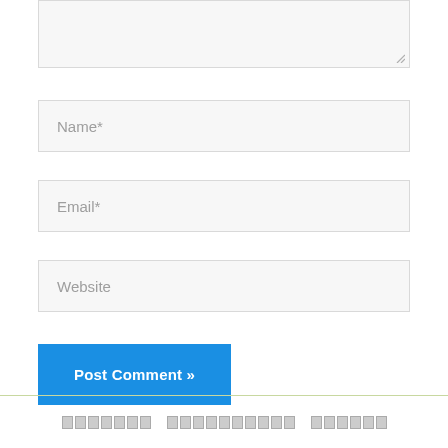[Figure (screenshot): Textarea input field (partially visible, cropped at top) with a resize handle at bottom-right corner. Background is light gray with a thin border.]
Name*
Email*
Website
Post Comment »
[garbled/encoded footer text shown as placeholder boxes]